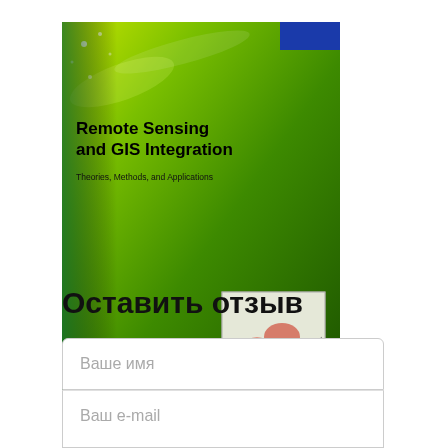[Figure (illustration): Book cover for 'Remote Sensing and GIS Integration: Theories, Methods, and Applications'. Green gradient background with blue bar in top right corner, bold title text, subtitle, a small inset map image in bottom right area, and author name at bottom left.]
Remote Sensing …
Оставить отзыв
Ваше имя
Ваш e-mail